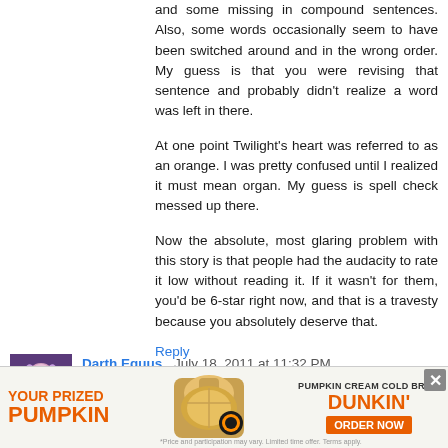and some missing in compound sentences. Also, some words occasionally seem to have been switched around and in the wrong order. My guess is that you were revising that sentence and probably didn't realize a word was left in there.
At one point Twilight's heart was referred to as an orange. I was pretty confused until I realized it must mean organ. My guess is spell check messed up there.
Now the absolute, most glaring problem with this story is that people had the audacity to rate it low without reading it. If it wasn't for them, you'd be 6-star right now, and that is a travesty because you absolutely deserve that.
Reply
Darth Equus  July 18, 2011 at 11:32 PM
Please write more. And soon. Or I'll plant turret droids around your house.
[Figure (infographic): Dunkin' advertisement banner: YOUR PRIZED PUMPKIN with a pumpkin cream cold brew image and DUNKIN' ORDER NOW button]